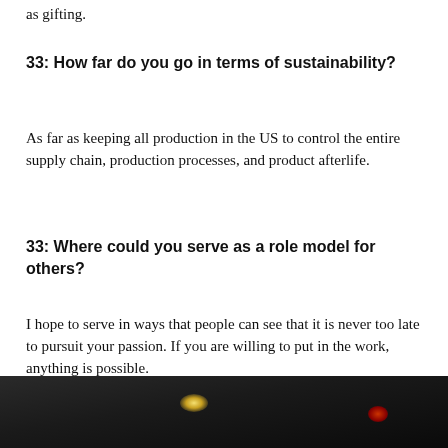as gifting.
33: How far do you go in terms of sustainability?
As far as keeping all production in the US to control the entire supply chain, production processes, and product afterlife.
33: Where could you serve as a role model for others?
I hope to serve in ways that people can see that it is never too late to pursuit your passion. If you are willing to put in the work, anything is possible.
[Figure (photo): Dark photograph, mostly black with a warm light spot visible near center-left and a reddish glow on the right side.]